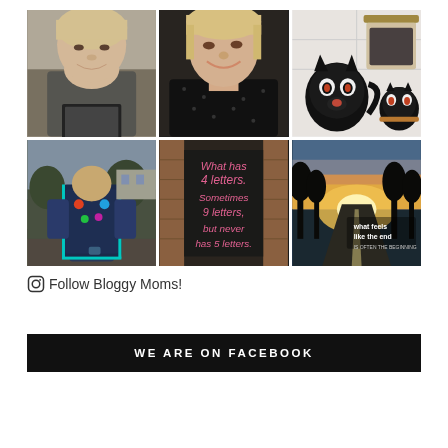[Figure (photo): 3x2 Instagram photo grid. Top row: young girl with tablet in gray top; smiling woman in black dotted top selfie; black cat mugs with glass jar. Bottom row: child from behind with colorful backpack; chalkboard sign reading 'What has 4 letters. Sometimes 9 letters, but never has 5 letters.'; sunset road with trees and text 'what feels like the end is often the beginning'.]
Follow Bloggy Moms!
WE ARE ON FACEBOOK